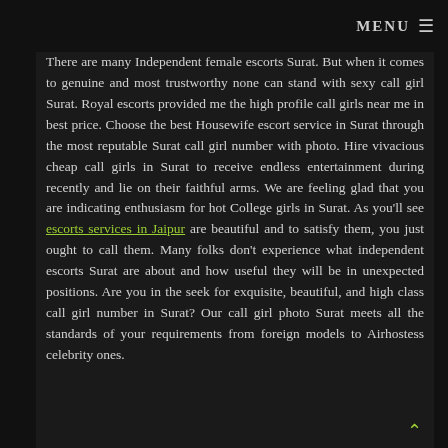MENU ≡
There are many Independent female escorts Surat. But when it comes to genuine and most trustworthy none can stand with sexy call girl Surat. Royal escorts provided me the high profile call girls near me in best price. Choose the best Housewife escort service in Surat through the most reputable Surat call girl number with photo. Hire vivacious cheap call girls in Surat to receive endless entertainment during recently and lie on their faithful arms. We are feeling glad that you are indicating enthusiasm for hot College girls in Surat. As you'll see escorts services in Jaipur are beautiful and to satisfy them, you just ought to call them. Many folks don't experience what independent escorts Surat are about and how useful they will be in unexpected positions. Are you in the seek for exquisite, beautiful, and high class call girl number in Surat? Our call girl photo Surat meets all the standards of your requirements from foreign models to Airhostess celebrity ones.